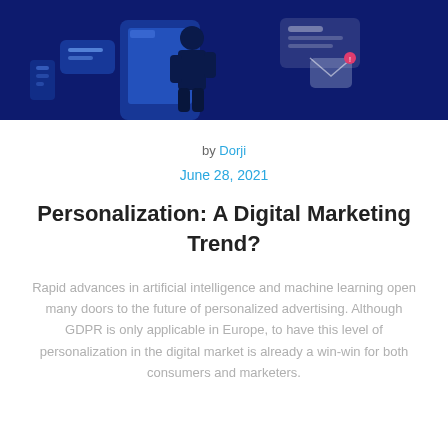[Figure (illustration): Hero banner with dark navy blue background showing a person holding a large smartphone, with various digital UI elements, icons and cards floating around, in an isometric flat illustration style.]
by Dorji
June 28, 2021
Personalization: A Digital Marketing Trend?
Rapid advances in artificial intelligence and machine learning open many doors to the future of personalized advertising. Although GDPR is only applicable in Europe, to have this level of personalization in the digital market is already a win-win for both consumers and marketers.